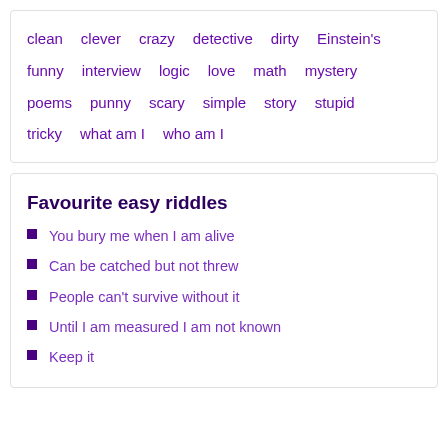clean  clever  crazy  detective  dirty  Einstein's  funny  interview  logic  love  math  mystery  poems  punny  scary  simple  story  stupid  tricky  what am I  who am I
Favourite easy riddles
You bury me when I am alive
Can be catched but not threw
People can't survive without it
Until I am measured I am not known
Keep it